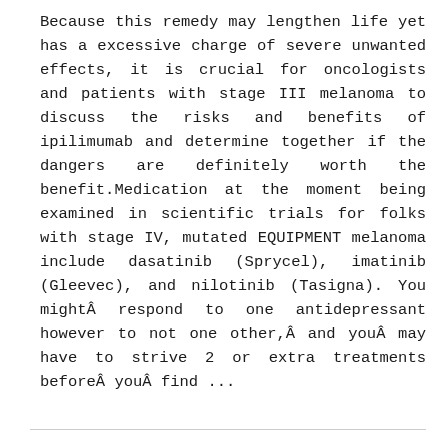Because this remedy may lengthen life yet has a excessive charge of severe unwanted effects, it is crucial for oncologists and patients with stage III melanoma to discuss the risks and benefits of ipilimumab and determine together if the dangers are definitely worth the benefit.Medication at the moment being examined in scientific trials for folks with stage IV, mutated EQUIPMENT melanoma include dasatinib (Sprycel), imatinib (Gleevec), and nilotinib (Tasigna). You mightÂ respond to one antidepressant however to not one other,Â and youÂ may have to strive 2 or extra treatments beforeÂ youÂ find ...